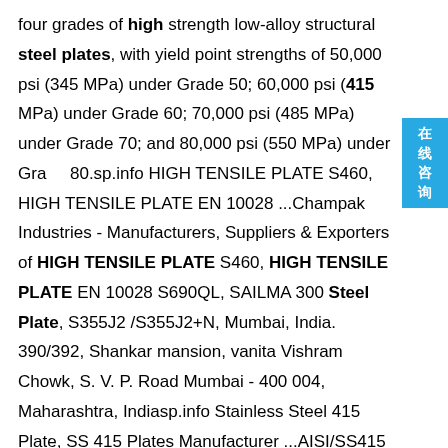four grades of high strength low-alloy structural steel plates, with yield point strengths of 50,000 psi (345 MPa) under Grade 50; 60,000 psi (415 MPa) under Grade 60; 70,000 psi (485 MPa) under Grade 70; and 80,000 psi (550 MPa) under Grade 80.sp.info HIGH TENSILE PLATE S460, HIGH TENSILE PLATE EN 10028 ...Champak Industries - Manufacturers, Suppliers & Exporters of HIGH TENSILE PLATE S460, HIGH TENSILE PLATE EN 10028 S690QL, SAILMA 300 Steel Plate, S355J2 /S355J2+N, Mumbai, India. 390/392, Shankar mansion, vanita Vishram Chowk, S. V. P. Road Mumbai - 400 004, Maharashtra, Indiasp.info Stainless Steel 415 Plate, SS 415 Plates Manufacturer ...AISI/SS415 Plate is a martensitic SS grade plate. These plates are formulated for primary forming into wrought grades. AISI is the designation of these plates. SS 415 Plates are available in both in annealed and